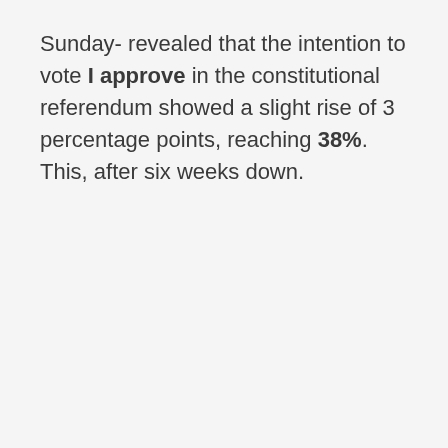Sunday- revealed that the intention to vote I approve in the constitutional referendum showed a slight rise of 3 percentage points, reaching 38%. This, after six weeks down.